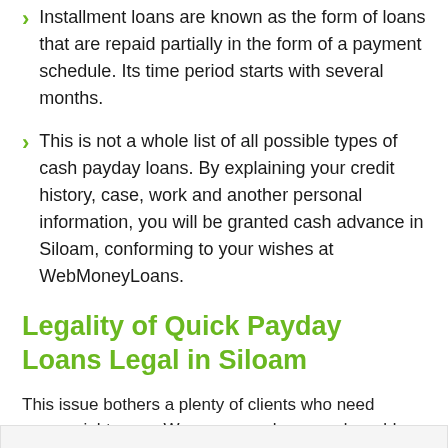Installment loans are known as the form of loans that are repaid partially in the form of a payment schedule. Its time period starts with several months.
This is not a whole list of all possible types of cash payday loans. By explaining your credit history, case, work and another personal information, you will be granted cash advance in Siloam, conforming to your wishes at WebMoneyLoans.
Legality of Quick Payday Loans Legal in Siloam
This issue bothers a plenty of clients who need money right away. We see your alarms and would like to convince you of laws that surround the legit short-term payday loans in your state: